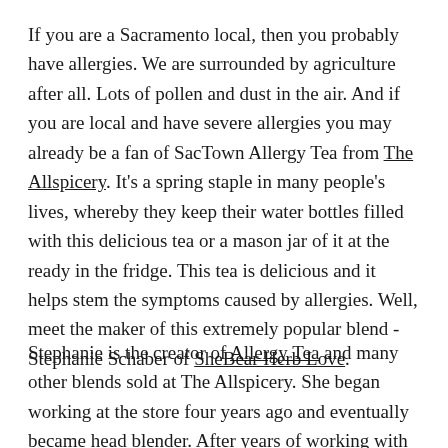If you are a Sacramento local, then you probably have allergies. We are surrounded by agriculture after all. Lots of pollen and dust in the air. And if you are local and have severe allergies you may already be a fan of SacTown Allergy Tea from The Allspicery. It's a spring staple in many people's lives, whereby they keep their water bottles filled with this delicious tea or a mason jar of it at the ready in the fridge. This tea is delicious and it helps stem the symptoms caused by allergies. Well, meet the maker of this extremely popular blend - Stephanie Schaber of SheBear Herb Love.
Stephanie is the creator of Allergy Tea and many other blends sold at The Allspicery. She began working at the store four years ago and eventually became head blender. After years of working with